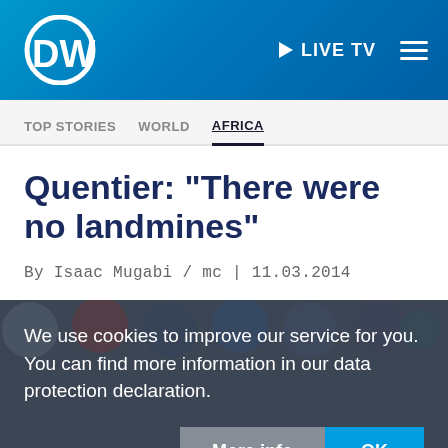[Figure (logo): DW (Deutsche Welle) logo with navigation bar showing LIVE TV and hamburger menu]
TOP STORIES   WORLD   AFRICA
Quentier: "There were no landmines"
By Isaac Mugabi / mc | 11.03.2014
We use cookies to improve our service for you. You can find more information in our data protection declaration.
More info   OK